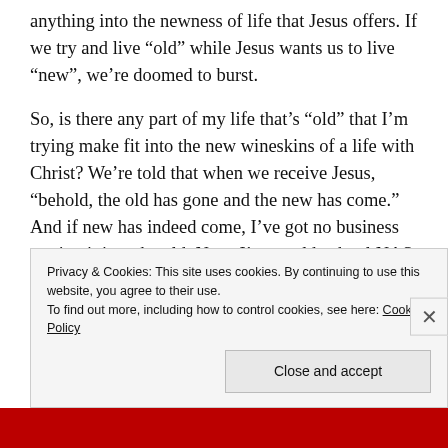anything into the newness of life that Jesus offers. If we try and live “old” while Jesus wants us to live “new”, we’re doomed to burst.
So, is there any part of my life that’s “old” that I’m trying make fit into the new wineskins of a life with Christ? We’re told that when we receive Jesus, “behold, the old has gone and the new has come.” And if new has indeed come, I’ve got no business putting it into the old. Now, I’m an old-school NAS guy, but I really like how the New Living Translation (shown above) puts it: “New wine calls for new wineskins.” It’s as if the newness that Christ
Privacy & Cookies: This site uses cookies. By continuing to use this website, you agree to their use.
To find out more, including how to control cookies, see here: Cookie Policy

Close and accept